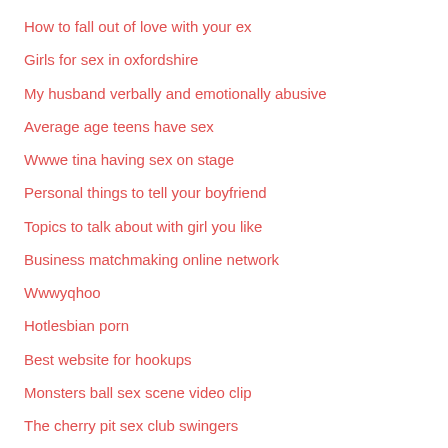How to fall out of love with your ex
Girls for sex in oxfordshire
My husband verbally and emotionally abusive
Average age teens have sex
Wwwe tina having sex on stage
Personal things to tell your boyfriend
Topics to talk about with girl you like
Business matchmaking online network
Wwwyqhoo
Hotlesbian porn
Best website for hookups
Monsters ball sex scene video clip
The cherry pit sex club swingers